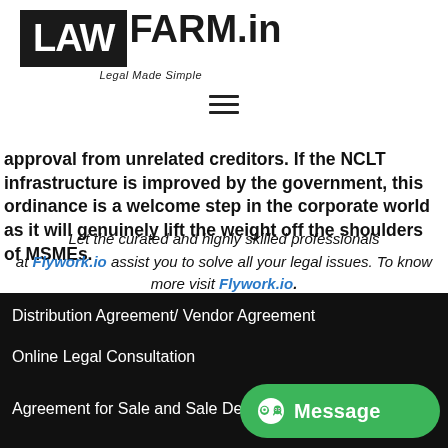[Figure (logo): LawFarm.in logo with tagline 'Legal Made Simple']
[Figure (other): Hamburger menu icon (three horizontal lines)]
approval from unrelated creditors. If the NCLT infrastructure is improved by the government, this ordinance is a welcome step in the corporate world as it will genuinely lift the weight off the shoulders of MSMEs.
Let the curated and highly skilled professionals at Flywork.io assist you to solve all your legal issues. To know more visit Flywork.io.
Distribution Agreement/ Vendor Agreement
Online Legal Consultation
Agreement for Sale and Sale Deed